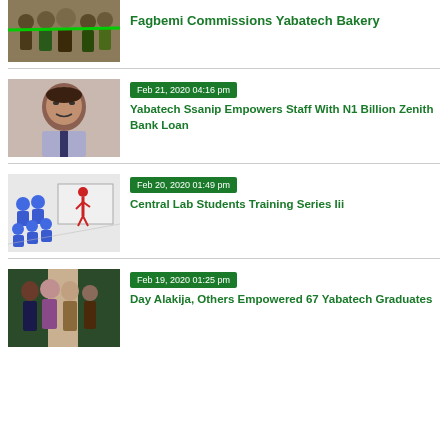[Figure (photo): Group of people cutting a ribbon at a bakery commissioning ceremony]
Fagbemi Commissions Yabatech Bakery
[Figure (photo): Portrait of a man in a patterned shirt and tie]
Feb 21, 2020 04:16 pm
Yabatech Ssanip Empowers Staff With N1 Billion Zenith Bank Loan
[Figure (photo): Illustration of blue cartoon figures in a classroom/training setting with a red figure at the front]
Feb 20, 2020 01:49 pm
Central Lab Students Training Series Iii
[Figure (photo): Group of people at a graduation/empowerment event]
Feb 19, 2020 01:25 pm
Day Alakija, Others Empowered 67 Yabatech Graduates